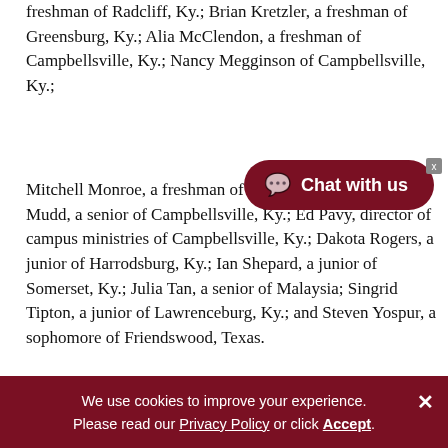freshman of Radcliff, Ky.; Brian Kretzler, a freshman of Greensburg, Ky.; Alia McClendon, a freshman of Campbellsville, Ky.; Nancy Megginson of Campbellsville, Ky.;
Mitchell Monroe, a freshman of Morganfield, Ky.; Lacy Mudd, a senior of Campbellsville, Ky.; Ed Pavy, director of campus ministries of Campbellsville, Ky.; Dakota Rogers, a junior of Harrodsburg, Ky.; Ian Shepard, a junior of Somerset, Ky.; Julia Tan, a senior of Malaysia; Singrid Tipton, a junior of Lawrenceburg, Ky.; and Steven Yospur, a sophomore of Friendswood, Texas.
Campbellsville University is a widely acclaimed
[Figure (other): Chat with us button overlay — a dark red pill-shaped button with speech bubble icon and 'Chat with us' text]
We use cookies to improve your experience. Please read our Privacy Policy or click Accept.